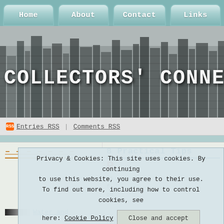Home | About | Contact | Links
[Figure (screenshot): Banner image of city skyline in black and white with text COLLECTORS' CONNECTI overlaid]
Entries RSS | Comments RSS
8 Practical Tips
Privacy & Cookies: This site uses cookies. By continuing to use this website, you agree to their use. To find out more, including how to control cookies, see here: Cookie Policy
Close and accept
Water and
rainy or wet season in the